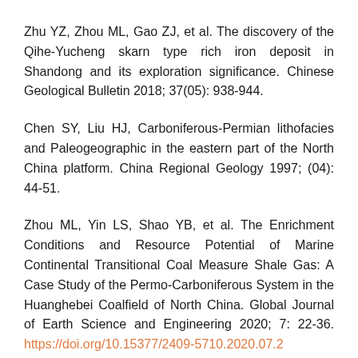Zhu YZ, Zhou ML, Gao ZJ, et al. The discovery of the Qihe-Yucheng skarn type rich iron deposit in Shandong and its exploration significance. Chinese Geological Bulletin 2018; 37(05): 938-944.
Chen SY, Liu HJ, Carboniferous-Permian lithofacies and Paleogeographic in the eastern part of the North China platform. China Regional Geology 1997; (04): 44-51.
Zhou ML, Yin LS, Shao YB, et al. The Enrichment Conditions and Resource Potential of Marine Continental Transitional Coal Measure Shale Gas: A Case Study of the Permo-Carboniferous System in the Huanghebei Coalfield of North China. Global Journal of Earth Science and Engineering 2020; 7: 22-36. https://doi.org/10.15377/2409-5710.2020.07.2
Han DX, The 9th International Conference on Carboniferous Strata and Geology [J]. Coal Science and